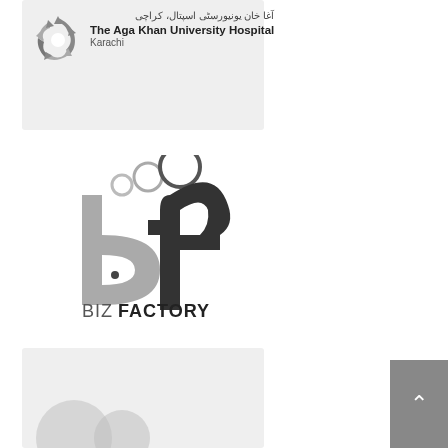[Figure (logo): The Aga Khan University Hospital, Karachi logo card with rotating arrow symbol, Arabic text, English name and city]
[Figure (logo): Biz Factory logo with stylized 'bf' letterform in grey and dark charcoal, with circles above, and text BIZ FACTORY below]
[Figure (logo): Partial bottom card with logo partially visible at bottom of page]
[Figure (other): Grey scroll-to-top button with upward chevron arrow in bottom right corner]